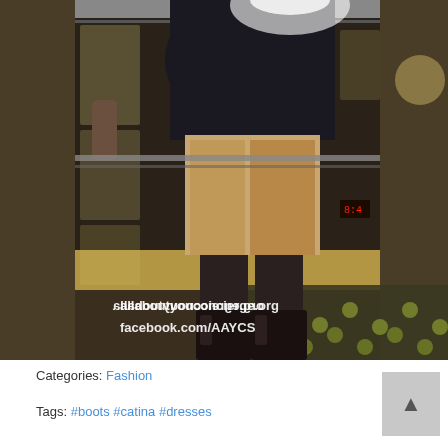[Figure (photo): A person standing on what appears to be a transit platform or lobby, wearing a dark top/dress, patterned shorts or skirt, and tall dark knee-high boots. The background shows a train platform or corridor with warm lighting. Watermark text reads: allaboutyouconcierge.org and facebook.com/AAYCS.]
Categories: Fashion
Tags: #boots #catina #dresses